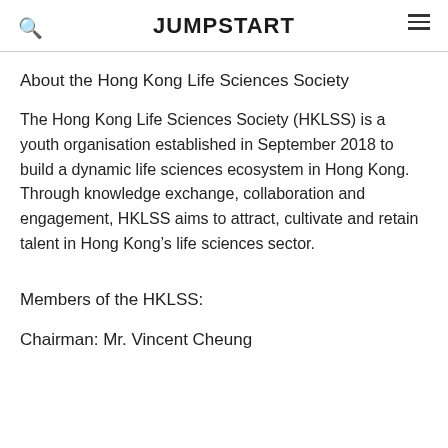JUMPSTART
About the Hong Kong Life Sciences Society
The Hong Kong Life Sciences Society (HKLSS) is a youth organisation established in September 2018 to build a dynamic life sciences ecosystem in Hong Kong. Through knowledge exchange, collaboration and engagement, HKLSS aims to attract, cultivate and retain talent in Hong Kong’s life sciences sector.
Members of the HKLSS:
Chairman: Mr. Vincent Cheung